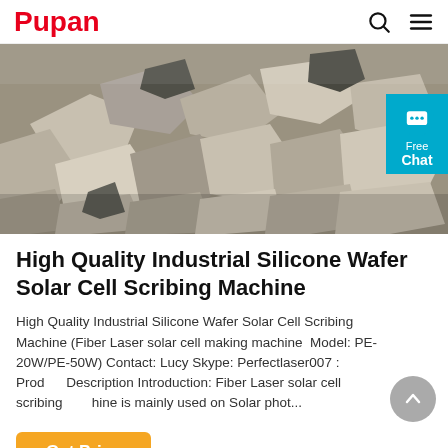Pupan
[Figure (photo): Photo of grey industrial rocks/stones in sunlight, used as hero product image. A teal/cyan 'Free Chat' badge overlays the right side.]
High Quality Industrial Silicone Wafer Solar Cell Scribing Machine
High Quality Industrial Silicone Wafer Solar Cell Scribing Machine (Fiber Laser solar cell making machine　Model: PE-20W/PE-50W) Contact: Lucy Skype: Perfectlaser007 : Product Description Introduction: Fiber Laser solar cell scribing machine is mainly used on Solar phot...
Get Price